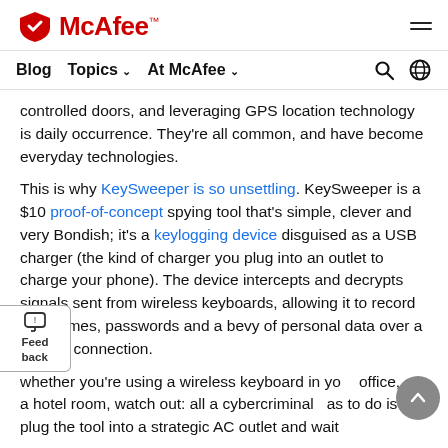McAfee™
Blog  Topics  At McAfee
controlled doors, and leveraging GPS location technology is daily occurrence. They're all common, and have become everyday technologies.
This is why KeySweeper is so unsettling. KeySweeper is a $10 proof-of-concept spying tool that's simple, clever and very Bondish; it's a keylogging device disguised as a USB charger (the kind of charger you plug into an outlet to charge your phone). The device intercepts and decrypts signals sent from wireless keyboards, allowing it to record usernames, passwords and a bevy of personal data over a cellular connection.
whether you're using a wireless keyboard in your office, or a hotel room, watch out: all a cybercriminal has to do is plug the tool into a strategic AC outlet and wait